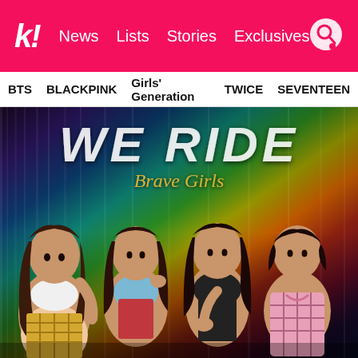k! News Lists Stories Exclusives
BTS  BLACKPINK  Girls' Generation  TWICE  SEVENTEEN
[Figure (photo): Brave Girls album cover for 'WE RIDE' showing four female K-pop group members seated/posed against a colorful iridescent background with the text 'WE RIDE' and 'Brave Girls' overlaid]